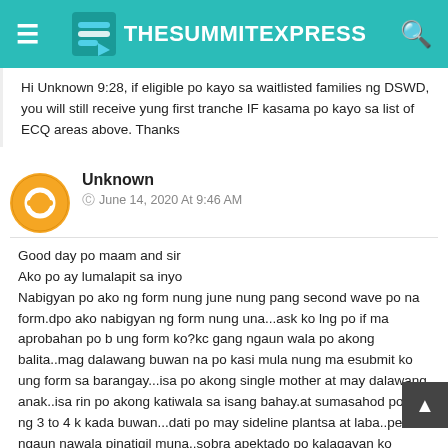TheSummitExpress
Hi Unknown 9:28, if eligible po kayo sa waitlisted families ng DSWD, you will still receive yung first tranche IF kasama po kayo sa list of ECQ areas above. Thanks
Unknown
© June 14, 2020 At 9:46 AM
Good day po maam and sir
Ako po ay lumalapit sa inyo
Nabigyan po ako ng form nung june nung pang second wave po na form.dpo ako nabigyan ng form nung una...ask ko lng po if ma aprobahan po b ung form ko?kc gang ngaun wala po akong balita..mag dalawang buwan na po kasi mula nung ma esubmit ko ung form sa barangay...isa po akong single mother at may dalawang anak..isa rin po akong katiwala sa isang bahay.at sumasahod po ako ng 3 to 4 k kada buwan...dati po may sideline plantsa at laba..pero ngaun nawala pinatigil muna..sobra apektado po kalagayan ko